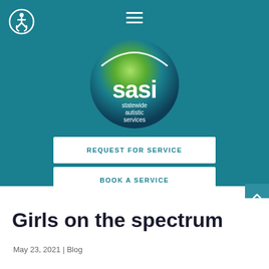[Figure (logo): SASI (Statewide Autistic Services) logo — a circular gradient sphere in teal, blue, and green with white text 'sasi' and subtitle 'statewide autistic services'. Navigation elements include a hamburger menu icon and accessibility wheelchair icon.]
REQUEST FOR SERVICE
BOOK A SERVICE
Girls on the spectrum
May 23, 2021 | Blog